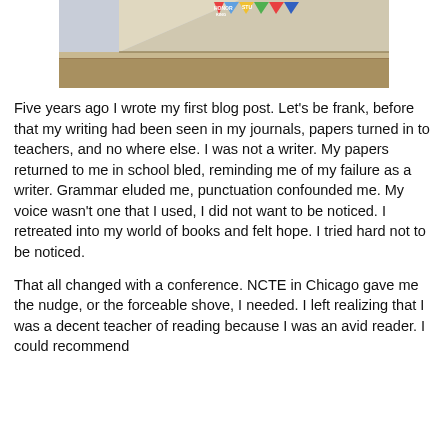[Figure (photo): A photo of a gymnasium or school hallway with triangular pennants/banners hanging, colorful decorations visible, and a reflective floor surface below.]
Five years ago I wrote my first blog post. Let's be frank, before that my writing had been seen in my journals, papers turned in to teachers, and no where else. I was not a writer. My papers returned to me in school bled, reminding me of my failure as a writer. Grammar eluded me, punctuation confounded me. My voice wasn't one that I used, I did not want to be noticed. I retreated into my world of books and felt hope. I tried hard not to be noticed.
That all changed with a conference. NCTE in Chicago gave me the nudge, or the forceable shove, I needed. I left realizing that I was a decent teacher of reading because I was an avid reader. I could recommend books, converse about books, and could talk about